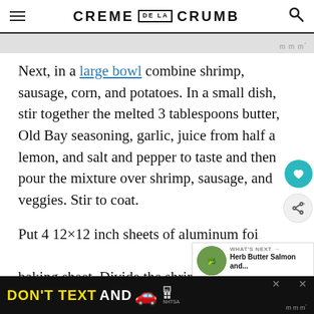CREME DE LA CRUMB
Next, in a large bowl combine shrimp, sausage, corn, and potatoes. In a small dish, stir together the melted 3 tablespoons butter, Old Bay seasoning, garlic, juice from half a lemon, and salt and pepper to taste and then pour the mixture over shrimp, sausage, and veggies. Stir to coat.
Put 4 12×12 inch sheets of aluminum foil on a baking sheet. Divide the shrimp mixture evenly among the 4 pieces of foil, folding up the edges of foil...